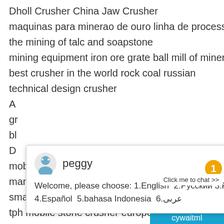Dholl Crusher China Jaw Crusher
maquinas para minerao de ouro linha de processamento
the mining of talc and soapstone
mining equipment iron ore grate ball mill of mineral processing plant
best crusher in the world rock coal russian
technical design crusher
A[truncated]
gr[truncated]
bl[truncated]
D[truncated]
mobile screening machine sale
manufacturing of pulverizer grinding rings
small scale gold ore ball mill for kaolin in zim[truncated]
tph mobile stone crusher europe
power efficiency high efficiency ball mill
mechanized stone crusher with prices
pengecilan ukuran dengan crusher
[Figure (screenshot): Live chat popup with agent named 'peggy', showing welcome message: 'Welcome, please choose: 1.English  2.Русский 3.Français  4.Español  5.bahasa Indonesia  6.عربى']
Enquiry
cywaitml @gmail.com